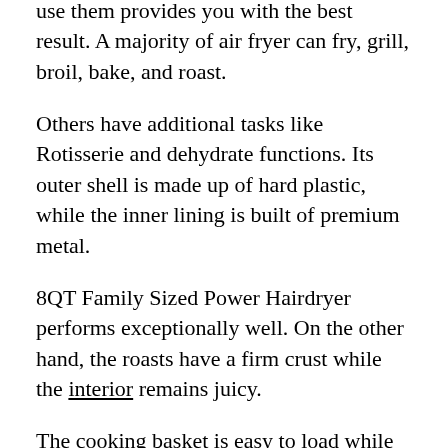use them provides you with the best result. A majority of air fryer can fry, grill, broil, bake, and roast.
Others have additional tasks like Rotisserie and dehydrate functions. Its outer shell is made up of hard plastic, while the inner lining is built of premium metal.
8QT Family Sized Power Hairdryer performs exceptionally well. On the other hand, the roasts have a firm crust while the interior remains juicy.
The cooking basket is easy to load while cooking has been made further easier because the fryer has a digital timer and detailed recipe for dehydration, air frying, and Rotisserie. The seven presets helps you to choose the exact time and temperature for your favorite meal.